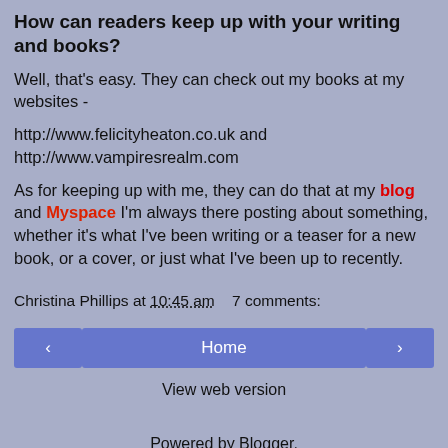How can readers keep up with your writing and books?
Well, that's easy. They can check out my books at my websites -
http://www.felicityheaton.co.uk and http://www.vampiresrealm.com
As for keeping up with me, they can do that at my blog and Myspace I'm always there posting about something, whether it's what I've been writing or a teaser for a new book, or a cover, or just what I've been up to recently.
Christina Phillips at 10:45 am    7 comments:
[Figure (other): Navigation buttons: left arrow, Home, right arrow]
View web version
Powered by Blogger.